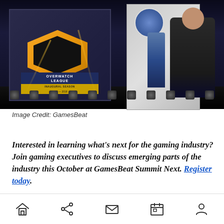[Figure (photo): Stage presentation at an Overwatch League Inaugural Season event. A presenter stands on stage in front of large backdrop panels including the Overwatch League logo and another panel. Stage lights are visible along the bottom of the stage.]
Image Credit: GamesBeat
Interested in learning what's next for the gaming industry? Join gaming executives to discuss emerging parts of the industry this October at GamesBeat Summit Next. Register today.